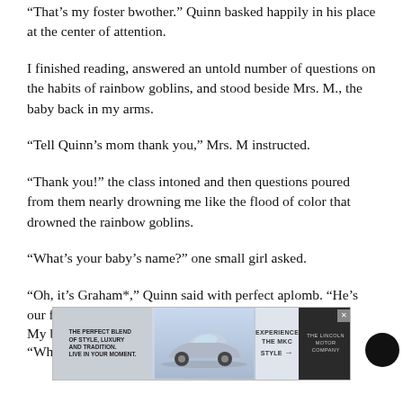“That’s my foster bwother.” Quinn basked happily in his place at the center of attention.
I finished reading, answered an untold number of questions on the habits of rainbow goblins, and stood beside Mrs. M., the baby back in my arms.
“Tell Quinn’s mom thank you,” Mrs. M instructed.
“Thank you!” the class intoned and then questions poured from them nearly drowning me like the flood of color that drowned the rainbow goblins.
“What’s your baby’s name?” one small girl asked.
“Oh, it’s Graham*,” Quinn said with perfect aplomb. “He’s our foster bwother.”
“Why don’t you tell the class what that means, Quinn,”
My bre… …ords.
[Figure (other): Advertisement banner for Lincoln MKC vehicle with text 'THE PERFECT BLEND OF STYLE, LUXURY AND TRADITION. LIVE IN YOUR MOMENT.' and 'EXPERIENCE THE MKC STYLE' with The Lincoln Motor Company logo. Has an X close button.]